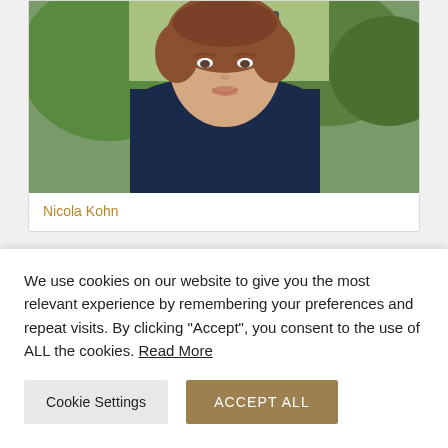[Figure (photo): Portrait photo of Nicola Kohn, a woman with short reddish-brown hair wearing a dark navy blazer, photographed outdoors with green foliage and a lamp post in the background]
Nicola Kohn
[Figure (photo): Portrait photo of a woman with medium-length dark brown hair, photographed outdoors against a stone building background, partially cropped]
We use cookies on our website to give you the most relevant experience by remembering your preferences and repeat visits. By clicking “Accept”, you consent to the use of ALL the cookies. Read More